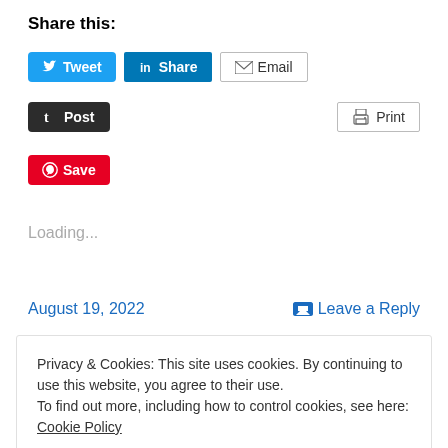Share this:
[Figure (screenshot): Social share buttons: Tweet (Twitter, blue), Share (LinkedIn, blue), Email (grey outline)]
[Figure (screenshot): Post button (Tumblr, dark), Print button (grey outline)]
[Figure (screenshot): Save button (Pinterest, red)]
Loading...
August 19, 2022   Leave a Reply
Privacy & Cookies: This site uses cookies. By continuing to use this website, you agree to their use.
To find out more, including how to control cookies, see here: Cookie Policy
Close and accept